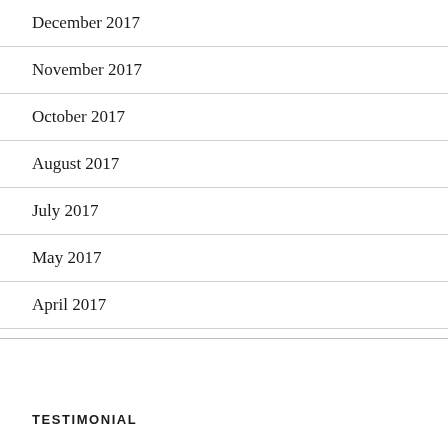December 2017
November 2017
October 2017
August 2017
July 2017
May 2017
April 2017
TESTIMONIAL